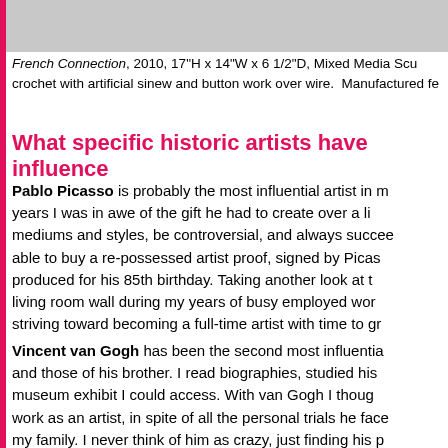[Figure (photo): Gray image at top of page, partial view of artwork]
French Connection, 2010, 17"H x 14"W x 6 1/2"D, Mixed Media Scu crochet with artificial sinew and button work over wire.  Manufactured fe
What specific historic artists have influence
Pablo Picasso is probably the most influential artist in m years I was in awe of the gift he had to create over a li mediums and styles, be controversial, and always succee able to buy a re-possessed artist proof, signed by Picas produced for his 85th birthday. Taking another look at t living room wall during my years of busy employed wor striving toward becoming a full-time artist with time to gr
Vincent van Gogh has been the second most influentia and those of his brother. I read biographies, studied his museum exhibit I could access. With van Gogh I thoug work as an artist, in spite of all the personal trials he face my family. I never think of him as crazy, just finding his p